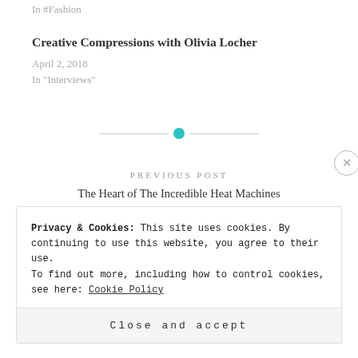In #Fashion
Creative Compressions with Olivia Locher
April 2, 2018
In "Interviews"
PREVIOUS POST
The Heart of The Incredible Heat Machines
Privacy & Cookies: This site uses cookies. By continuing to use this website, you agree to their use.
To find out more, including how to control cookies, see here: Cookie Policy
Close and accept